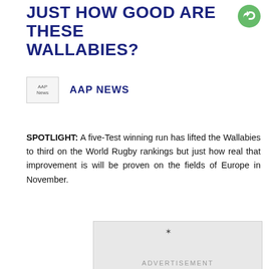JUST HOW GOOD ARE THESE WALLABIES?
[Figure (logo): Green circular share/forward button icon]
[Figure (logo): AAP News logo image]
AAP NEWS
SPOTLIGHT: A five-Test winning run has lifted the Wallabies to third on the World Rugby rankings but just how real that improvement is will be proven on the fields of Europe in November.
[Figure (other): Advertisement placeholder box with ADVERTISEMENT label]